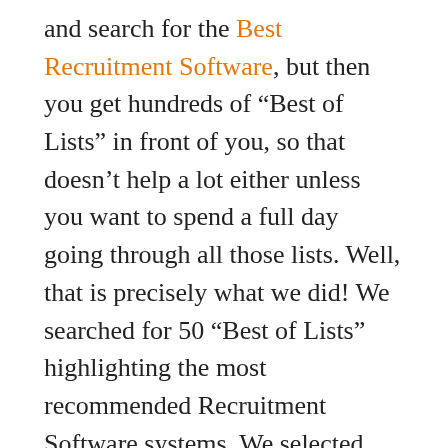and search for the Best Recruitment Software, but then you get hundreds of “Best of Lists” in front of you, so that doesn’t help a lot either unless you want to spend a full day going through all those lists. Well, that is precisely what we did! We searched for 50 “Best of Lists” highlighting the most recommended Recruitment Software systems. We selected and combined the 20 most valuable “Best of Lists” and earmarked and ranked what Recruitment applications keep up appearing on most of those recently published lists. From a total of 260 Recruitment Software Tools compared, reviewed, and ranked, here are the Top 20 of Most